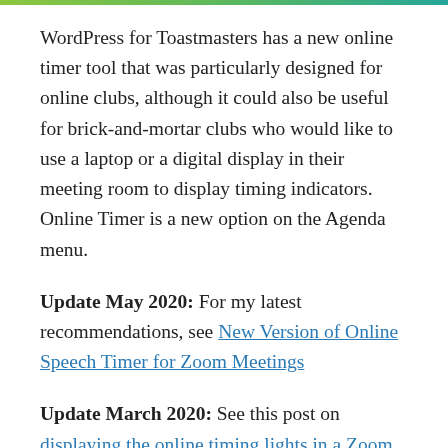WordPress for Toastmasters has a new online timer tool that was particularly designed for online clubs, although it could also be useful for brick-and-mortar clubs who would like to use a laptop or a digital display in their meeting room to display timing indicators. Online Timer is a new option on the Agenda menu.
Update May 2020: For my latest recommendations, see New Version of Online Speech Timer for Zoom Meetings
Update March 2020: See this post on displaying the online timing lights in a Zoom meeting. Shown as you might use it for a